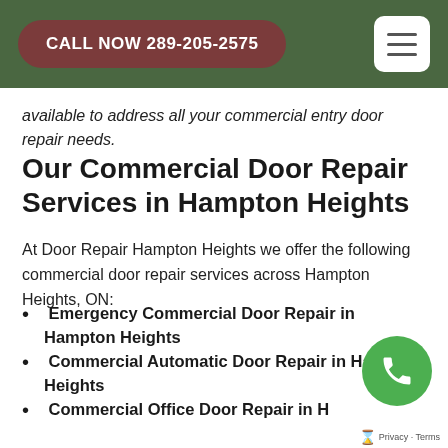CALL NOW 289-205-2575
available to address all your commercial entry door repair needs.
Our Commercial Door Repair Services in Hampton Heights
At Door Repair Hampton Heights we offer the following commercial door repair services across Hampton Heights, ON:
Emergency Commercial Door Repair in Hampton Heights
Commercial Automatic Door Repair in Hampton Heights
Commercial Office Door Repair in Hampton Heights
Commercial Metal Door Repair in Hampton Heights